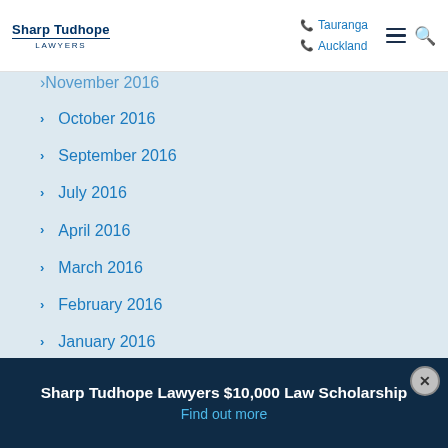Sharp Tudhope LAWYERS — Tauranga | Auckland
November 2016 (partial)
October 2016
September 2016
July 2016
April 2016
March 2016
February 2016
January 2016
September 2015
August 2015
July 2015
Sharp Tudhope Lawyers $10,000 Law Scholarship
Find out more